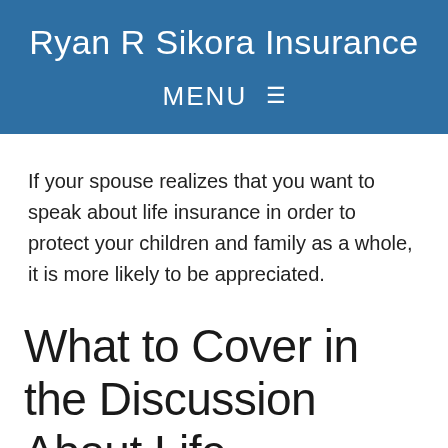Ryan R Sikora Insurance
MENU ☰
If your spouse realizes that you want to speak about life insurance in order to protect your children and family as a whole, it is more likely to be appreciated.
What to Cover in the Discussion About Life